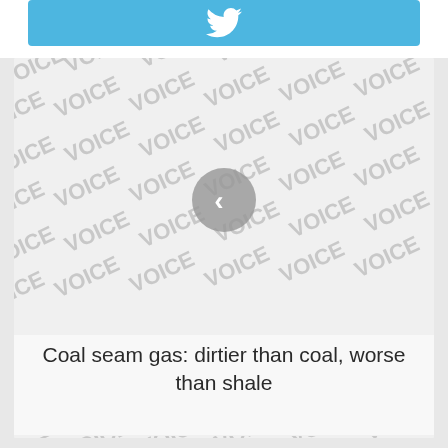[Figure (other): Twitter share button bar with bird icon, blue background]
[Figure (other): VOICE watermark repeating pattern background with left navigation arrow circle button]
Coal seam gas: dirtier than coal, worse than shale
[Figure (other): VOICE watermark repeating pattern background with right navigation arrow circle button and back-to-top dark button]